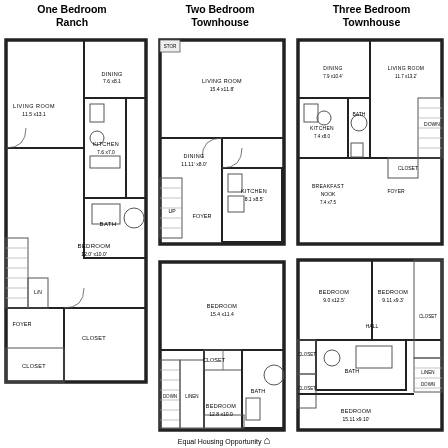One Bedroom Ranch
Two Bedroom Townhouse
Three Bedroom Townhouse
[Figure (engineering-diagram): Floor plan for One Bedroom Ranch showing Living Room 11.5x13.1, Dining 7.6x8.1, Kitchen 7.6x7.0, Bath, Bedroom 12.0x10.0, Foyer, Closet, Linen]
[Figure (engineering-diagram): First floor plan for Two Bedroom Townhouse showing Living Room 15.4x11.8, Dining 11.11x8.0, Kitchen 8.1x8.5, Foyer, stairs]
[Figure (engineering-diagram): Second floor plan for Two Bedroom Townhouse showing Bedroom 15.4x11.4, Bath, Closet x2, Linen, Bedroom 12.8x10.0, Closet, stairs Down]
[Figure (engineering-diagram): First floor plan for Three Bedroom Townhouse showing Dining 7.9x10.4, Living Room 11.7x13.2, Kitchen 7.4x8.0, Bath, Breakfast Nook 7.4x7.5, Foyer, Down]
[Figure (engineering-diagram): Second floor plan for Three Bedroom Townhouse showing Bedroom 9.0x12.5, Bedroom 9.11x9.3, Hall, Bath, Closets, Linen, Bedroom 15.11x9.10, Down]
Equal Housing Opportunity